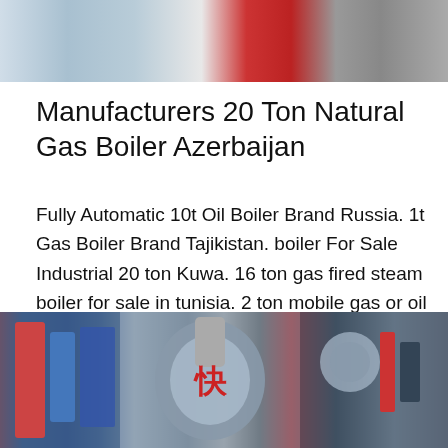[Figure (photo): Top portion of a photo showing industrial boilers and equipment, partially visible at the top of the page]
Manufacturers 20 Ton Natural Gas Boiler Azerbaijan
Fully Automatic 10t Oil Boiler Brand Russia. 1t Gas Boiler Brand Tajikistan. boiler For Sale Industrial 20 ton Kuwa. 16 ton gas fired steam boiler for sale in tunisia. 2 ton mobile gas or oil steam boiler for sale. Industrial 10 ton 20 ton…
Get Price
[Figure (photo): Bottom photo showing industrial boiler equipment including blue cylindrical boilers with Chinese characters and various piping and machinery]